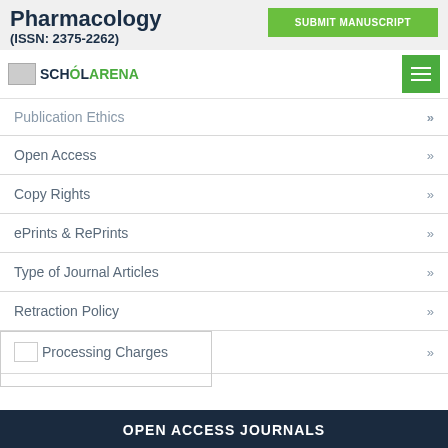Pharmacology (ISSN: 2375-2262)
[Figure (logo): ScholarArena logo with owl icon and green/dark text]
Publication Ethics »
Open Access »
Copy Rights »
ePrints & RePrints »
Type of Journal Articles »
Retraction Policy »
Processing Charges »
OPEN ACCESS JOURNALS